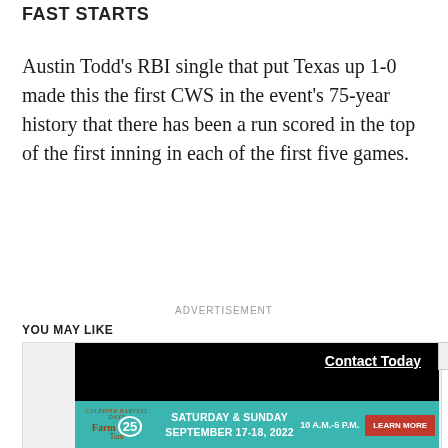FAST STARTS
Austin Todd's RBI single that put Texas up 1-0 made this the first CWS in the event's 75-year history that there has been a run scored in the top of the first inning in each of the first five games.
ADVERTISEMENT
YOU MAY LIKE
[Figure (other): Advertisement video player with black background and 'Contact Today' link in white bold underlined text, with a Culpeper Harvest Days Farm Tour banner at the bottom showing Saturday & Sunday September 17-18, 2022, 10 A.M.-5 P.M., Learn More button]